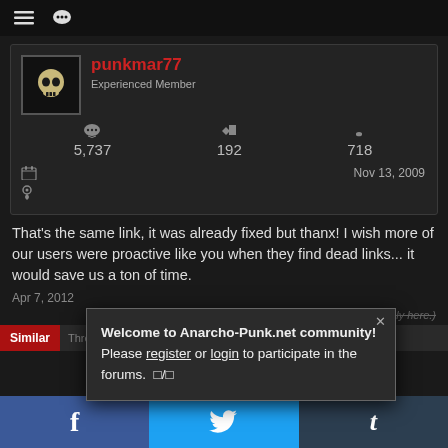≡  ···
punkmar77
Experienced Member
5,737  192  718
Nov 13, 2009
That's the same link, it was already fixed but thanx! I wish more of our users were proactive like you when they find dead links... it would save us a ton of time.
Apr 7, 2012
(You must log in or sign up to reply here.)
Similar Threads
Welcome to Anarcho-Punk.net community! Please register or login to participate in the forums. □/□
f  Twitter  t